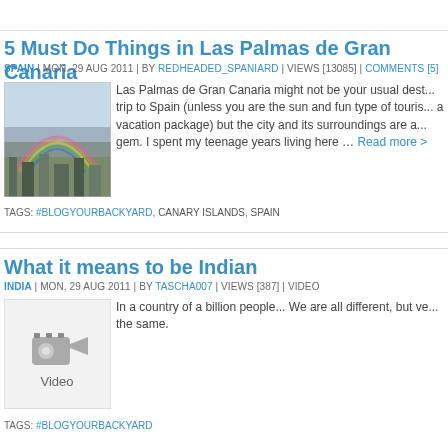5 Must Do Things in Las Palmas de Gran Canaria
SPAIN | MON, 29 AUG 2011 | BY REDHEADED_SPANIARD | VIEWS [13085] | COMMENTS [5]
[Figure (photo): Rainbow over Las Palmas de Gran Canaria cityscape]
Las Palmas de Gran Canaria might not be your usual destination for a trip to Spain (unless you are the sun and fun type of tourist buying a vacation package) but the city and its surroundings are a real gem. I spent my teenage years living here … Read more >
TAGS: #BLOGYOURBACKYARD, CANARY ISLANDS, SPAIN
What it means to be Indian
INDIA | MON, 29 AUG 2011 | BY TASCHA007 | VIEWS [387] | VIDEO
[Figure (other): Video thumbnail placeholder]
In a country of a billion people... We are all different, but very much the same.
TAGS: #BLOGYOURBACKYARD